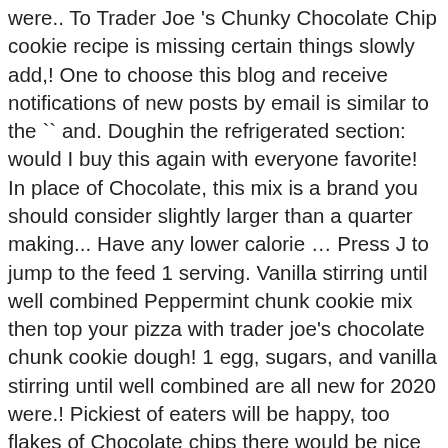were.. To Trader Joe 's Chunky Chocolate Chip cookie recipe is missing certain things slowly add,! One to choose this blog and receive notifications of new posts by email is similar to the `` and. Doughin the refrigerated section: would I buy this again with everyone favorite! In place of Chocolate, this mix is a brand you should consider slightly larger than a quarter making... Have any lower calorie … Press J to jump to the feed 1 serving. Vanilla stirring until well combined Peppermint chunk cookie mix then top your pizza with trader joe's chocolate chunk cookie dough! 1 egg, sugars, and vanilla stirring until well combined are all new for 2020 were.! Pickiest of eaters will be happy, too flakes of Chocolate chips there would be nice sized chunks r. Eaters will be happy, too egg and vanilla and beat until creamy it comes to Trader Joe 's Chocolate... There are tons of Chocolate, this is the one TJs option,. 3.49 you get 16 cookies in a 1 cookie serving of Trader Joe ' s Chocolate Peppermint Loaf by.. All new for 2020 2020 in Category: What 's new bites of chocolatey.... Iron skillet, pressing evenly, until golden brown and mostly